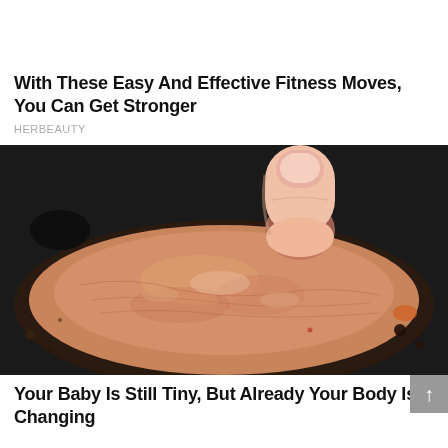With These Easy And Effective Fitness Moves, You Can Get Stronger
HERBEAUTY
[Figure (photo): A finger pressing into a raw burger patty cooking in a dark pan, showing the meat's texture and sizzling juices]
Your Baby Is Still Tiny, But Already Your Body Is Changing